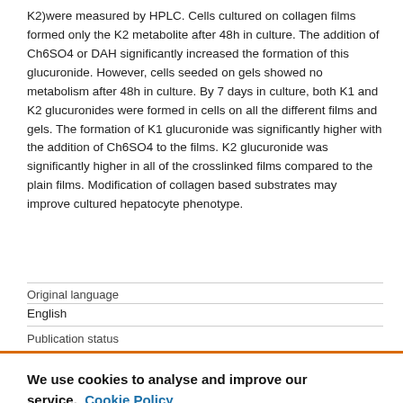K2)were measured by HPLC. Cells cultured on collagen films formed only the K2 metabolite after 48h in culture. The addition of Ch6SO4 or DAH significantly increased the formation of this glucuronide. However, cells seeded on gels showed no metabolism after 48h in culture. By 7 days in culture, both K1 and K2 glucuronides were formed in cells on all the different films and gels. The formation of K1 glucuronide was significantly higher with the addition of Ch6SO4 to the films. K2 glucuronide was significantly higher in all of the crosslinked films compared to the plain films. Modification of collagen based substrates may improve cultured hepatocyte phenotype.
| Original language |  |
| --- | --- |
| English |  |
| Publication status |  |
We use cookies to analyse and improve our service. Cookie Policy